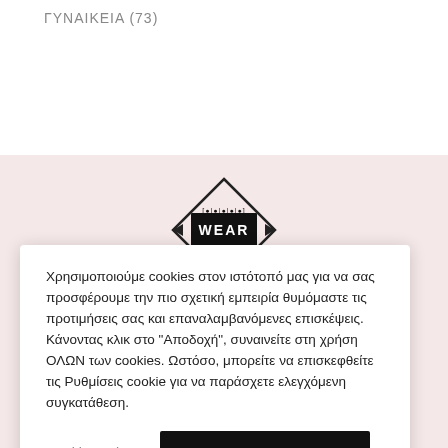ΓΥΝΑΙΚΕΙΑ (73)
[Figure (logo): Diamond-shaped logo with 'WEAR' text in the center and decorative border elements]
Χρησιμοποιούμε cookies στον ιστότοπό μας για να σας προσφέρουμε την πιο σχετική εμπειρία θυμόμαστε τις προτιμήσεις σας και επαναλαμβανόμενες επισκέψεις. Κάνοντας κλικ στο "Αποδοχή", συναινείτε στη χρήση ΟΛΩΝ των cookies. Ωστόσο, μπορείτε να επισκεφθείτε τις Ρυθμίσεις cookie για να παράσχετε ελεγχόμενη συγκατάθεση.
Cookie settings
ΑΠΟΔΟΧΗ ΟΛΩΝ